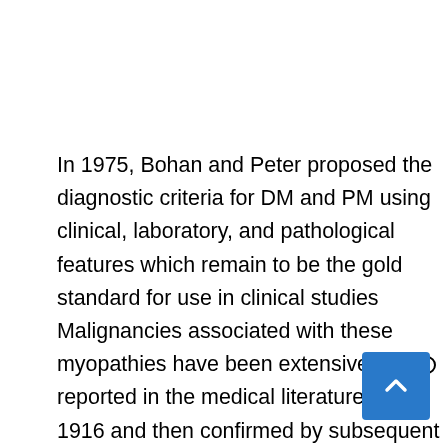In 1975, Bohan and Peter proposed the diagnostic criteria for DM and PM using clinical, laboratory, and pathological features which remain to be the gold standard for use in clinical studies Malignancies associated with these myopathies have been extensively reported in the medical literature since 1916 and then confirmed by subsequent meta-analysis.
Most of the earlier epidemiological studies that